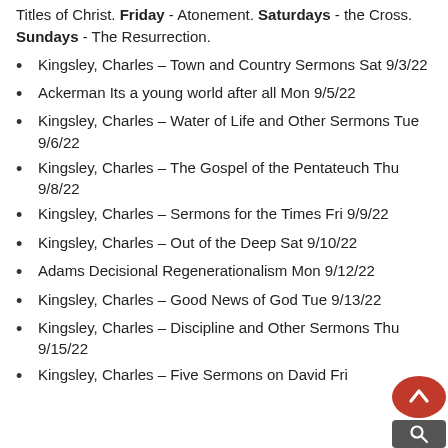Titles of Christ. Friday - Atonement. Saturdays - the Cross. Sundays - The Resurrection.
Kingsley, Charles – Town and Country Sermons Sat 9/3/22
Ackerman Its a young world after all Mon 9/5/22
Kingsley, Charles – Water of Life and Other Sermons Tue 9/6/22
Kingsley, Charles – The Gospel of the Pentateuch Thu 9/8/22
Kingsley, Charles – Sermons for the Times Fri 9/9/22
Kingsley, Charles – Out of the Deep Sat 9/10/22
Adams Decisional Regenerationalism Mon 9/12/22
Kingsley, Charles – Good News of God Tue 9/13/22
Kingsley, Charles – Discipline and Other Sermons Thu 9/15/22
Kingsley, Charles – Five Sermons on David Fri